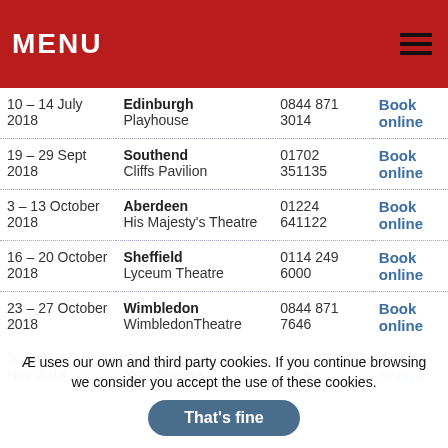MENU
| Dates | Venue | Phone | Book |
| --- | --- | --- | --- |
| 10 – 14 July 2018 | Edinburgh Playhouse | 0844 871 3014 | Book online |
| 19 – 29 Sept 2018 | Southend Cliffs Pavilion | 01702 351135 | Book online |
| 3 – 13 October 2018 | Aberdeen His Majesty's Theatre | 01224 641122 | Book online |
| 16 – 20 October 2018 | Sheffield Lyceum Theatre | 0114 249 6000 | Book online |
| 23 – 27 October 2018 | Wimbledon WimbledonTheatre | 0844 871 7646 | Book online |
| 30 Oct – 3 Nov 2018 | Oxford New Theatre | 0844 871 3030 | Book online |
Æ uses our own and third party cookies. If you continue browsing we consider you accept the use of these cookies.
That's fine